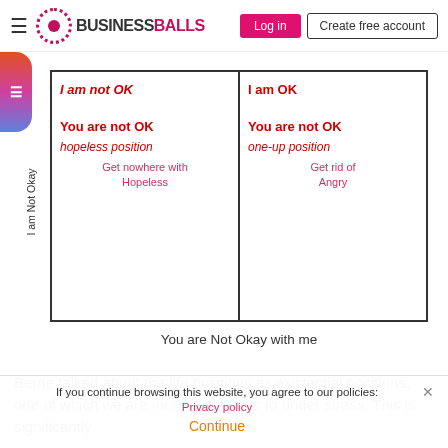BUSINESSBALLS — Log in | Create free account
[Figure (table-as-image): 2x2 life positions matrix from Transactional Analysis. Top-left cell: 'I am not OK / You are not OK — hopeless position — Get nowhere with Hopeless'. Top-right cell: 'I am OK / You are not OK — one-up position — Get rid of Angry'. Left axis label: 'I am Not Okay'. Right axis label: 'ay with me'. Bottom axis label: 'You are Not Okay with me'.]
Berne talked about the life positions as existential positions, one of which we are more likely to go to under stress. This is significantly
If you continue browsing this website, you agree to our policies: Privacy policy
Continue